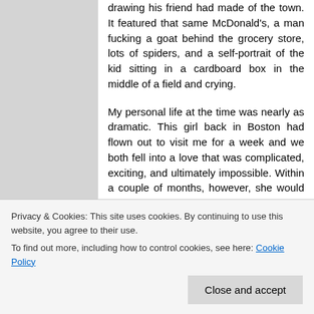drawing his friend had made of the town. It featured that same McDonald's, a man fucking a goat behind the grocery store, lots of spiders, and a self-portrait of the kid sitting in a cardboard box in the middle of a field and crying.
My personal life at the time was nearly as dramatic. This girl back in Boston had flown out to visit me for a week and we both fell into a love that was complicated, exciting, and ultimately impossible. Within a couple of months, however, she would insist we 'take a break'. Later, it turned out she had started dating the singer from Idlewild. A month after the
soul.
Privacy & Cookies: This site uses cookies. By continuing to use this website, you agree to their use.
To find out more, including how to control cookies, see here: Cookie Policy
Close and accept